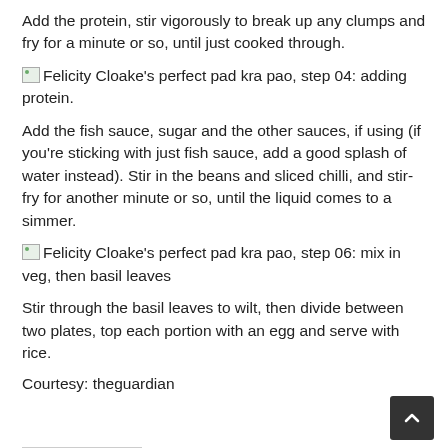Add the protein, stir vigorously to break up any clumps and fry for a minute or so, until just cooked through.
[Figure (photo): Felicity Cloake's perfect pad kra pao, step 04: adding protein.]
Add the fish sauce, sugar and the other sauces, if using (if you're sticking with just fish sauce, add a good splash of water instead). Stir in the beans and sliced chilli, and stir-fry for another minute or so, until the liquid comes to a simmer.
[Figure (photo): Felicity Cloake's perfect pad kra pao, step 06: mix in veg, then basil leaves]
Stir through the basil leaves to wilt, then divide between two plates, top each portion with an egg and serve with rice.
Courtesy: theguardian